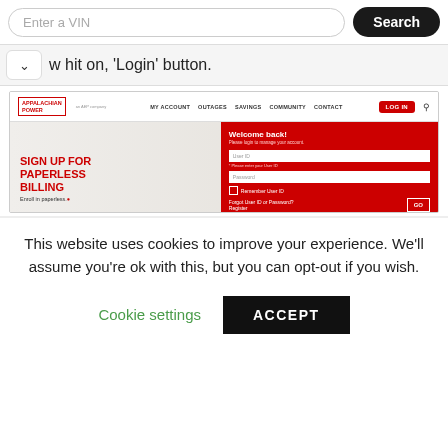[Figure (screenshot): Search bar with 'Enter a VIN' placeholder text and a black 'Search' button]
w hit on, 'Login' button.
[Figure (screenshot): Appalachian Power website screenshot showing navigation bar with MY ACCOUNT, OUTAGES, SAVINGS, COMMUNITY, CONTACT, LOG IN links, and a banner with 'SIGN UP FOR PAPERLESS BILLING' text and a login form panel showing 'Welcome back!' with User ID and Password fields, Remember User ID checkbox, Forgot User ID or Password? and Register links, and a GO button]
This website uses cookies to improve your experience. We'll assume you're ok with this, but you can opt-out if you wish.
Cookie settings
ACCEPT